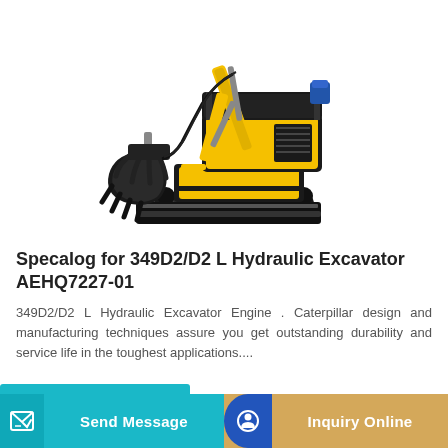[Figure (photo): Yellow and black mini hydraulic excavator with bucket attachment and claw attachment, shown on white background]
Specalog for 349D2/D2 L Hydraulic Excavator AEHQ7227-01
349D2/D2 L Hydraulic Excavator Engine . Caterpillar design and manufacturing techniques assure you get outstanding durability and service life in the toughest applications....